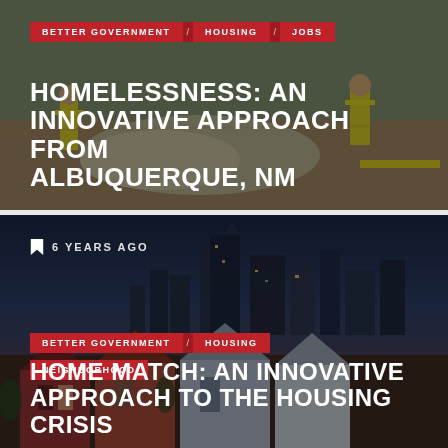[Figure (photo): Construction workers in yellow vests working on a road or landscaping project with gravel and rocks]
BETTER GOVERNMENT | HOUSING | JOBS
HOMELESSNESS: AN INNOVATIVE APPROACH FROM ALBUQUERQUE, NM
[Figure (photo): San Francisco city skyline at dusk with colorful Victorian houses in the foreground]
6 YEARS AGO
BETTER GOVERNMENT | HOUSING
NEIGHBORHOOD
HOME MATCH: AN INNOVATIVE APPROACH TO THE HOUSING CRISIS